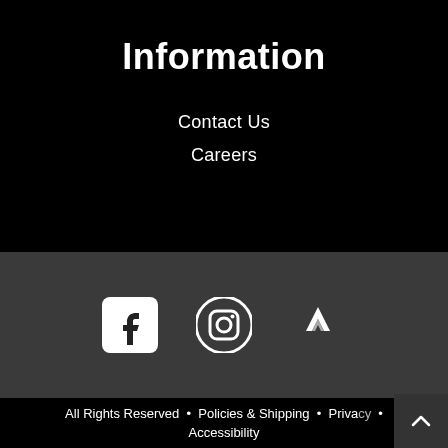Information
Contact Us
Careers
[Figure (infographic): Social media icons: Facebook, Instagram, Strava]
All Rights Reserved • Policies & Shipping • Privacy • Accessibility